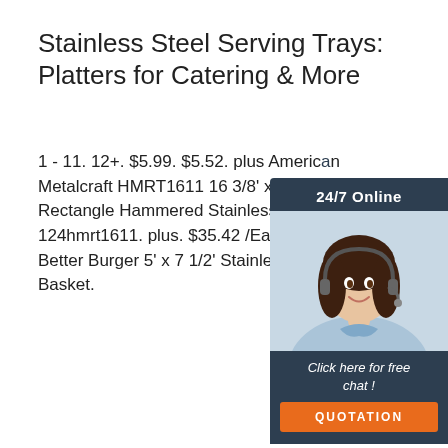Stainless Steel Serving Trays: Platters for Catering & More
1 - 11. 12+. $5.99. $5.52. plus American Metalcraft HMRT1611 16 3/8' x 11 1/4' Rectangle Hammered Stainless Steel 124hmrt1611. plus. $35.42 /Each. plus 20009 Better Burger 5' x 7 1/2' Stainless Serving Basket.
[Figure (photo): Customer service representative chat widget with '24/7 Online' header, woman with headset photo, 'Click here for free chat!' text, and orange QUOTATION button]
Get Price
[Figure (logo): Orange TOP logo with arrow/triangle shape made of dots above the word TOP]